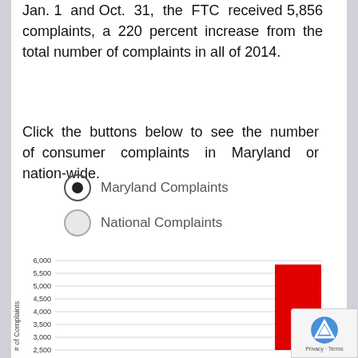Jan. 1 and Oct. 31, the FTC received 5,856 complaints, a 220 percent increase from the total number of complaints in all of 2014.
Click the buttons below to see the number of consumer complaints in Maryland or nationwide.
Maryland Complaints
National Complaints
[Figure (bar-chart): Number of Complaints]